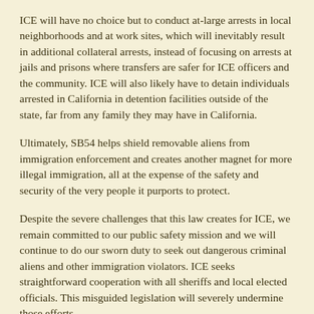ICE will have no choice but to conduct at-large arrests in local neighborhoods and at work sites, which will inevitably result in additional collateral arrests, instead of focusing on arrests at jails and prisons where transfers are safer for ICE officers and the community. ICE will also likely have to detain individuals arrested in California in detention facilities outside of the state, far from any family they may have in California.
Ultimately, SB54 helps shield removable aliens from immigration enforcement and creates another magnet for more illegal immigration, all at the expense of the safety and security of the very people it purports to protect.
Despite the severe challenges that this law creates for ICE, we remain committed to our public safety mission and we will continue to do our sworn duty to seek out dangerous criminal aliens and other immigration violators. ICE seeks straightforward cooperation with all sheriffs and local elected officials. This misguided legislation will severely undermine those efforts.
Now ICE has confirmed that an illegal alien, arrested five times in the past year, deported twice, is responsible for the some of the fires set in Sonoma County — more than one billion dollars' worth of destruction, not to mention the lives and deaths.